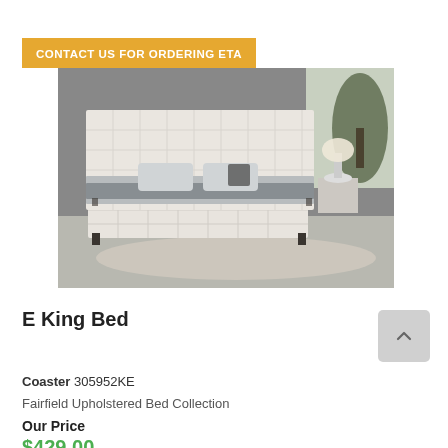CONTACT US FOR ORDERING ETA
[Figure (photo): E King Bed - upholstered bed with tufted headboard and footboard in beige/cream fabric, shown in a modern bedroom setting with grey walls, lamp, and decorative pillows on a fluffy rug.]
E King Bed
Coaster 305952KE
Fairfield Upholstered Bed Collection
Our Price
$429.00